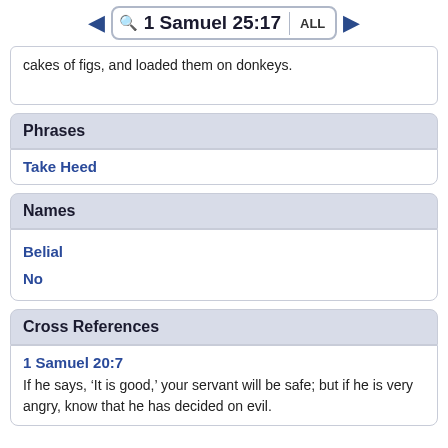1 Samuel 25:17 ALL
cakes of figs, and loaded them on donkeys.
Phrases
Take Heed
Names
Belial
No
Cross References
1 Samuel 20:7
If he says, ‘It is good,’ your servant will be safe; but if he is very angry, know that he has decided on evil.